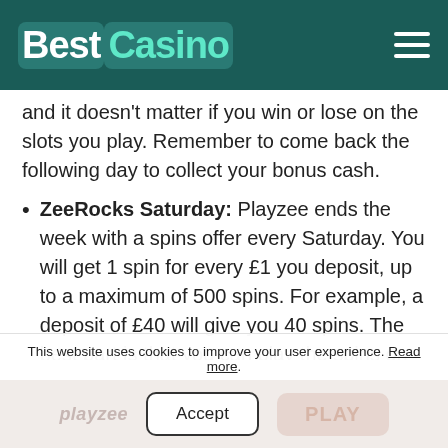BestCasino
and it doesn't matter if you win or lose on the slots you play. Remember to come back the following day to collect your bonus cash.
ZeeRocks Saturday: Playzee ends the week with a spins offer every Saturday. You will get 1 spin for every £1 you deposit, up to a maximum of 500 spins. For example, a deposit of £40 will give you 40 spins. The best part is that you can play the spins on
This website uses cookies to improve your user experience. Read more. Accept PLAY